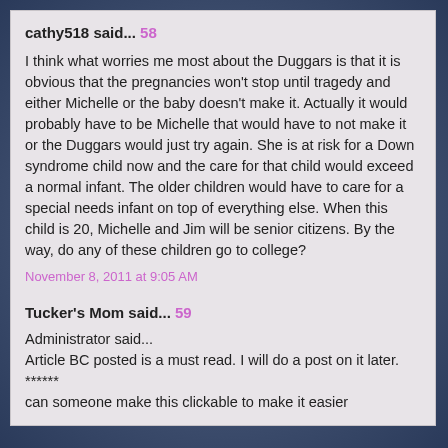cathy518 said... 58
I think what worries me most about the Duggars is that it is obvious that the pregnancies won't stop until tragedy and either Michelle or the baby doesn't make it. Actually it would probably have to be Michelle that would have to not make it or the Duggars would just try again. She is at risk for a Down syndrome child now and the care for that child would exceed a normal infant. The older children would have to care for a special needs infant on top of everything else. When this child is 20, Michelle and Jim will be senior citizens. By the way, do any of these children go to college?
November 8, 2011 at 9:05 AM
Tucker's Mom said... 59
Administrator said...
Article BC posted is a must read. I will do a post on it later.
******
can someone make this clickable to make it easier